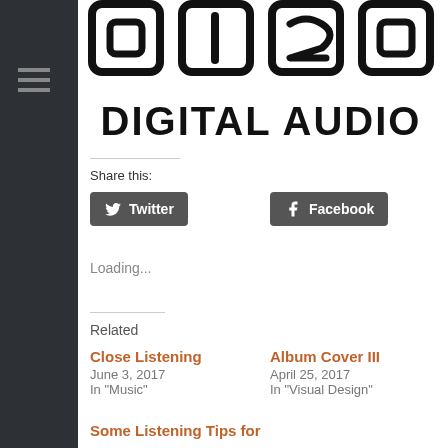[Figure (logo): 0120 Digital Audio logo — bold stylized digits 0 1 2 0 in outlined squares above bold text DIGITAL AUDIO]
Share this:
[Figure (infographic): Twitter share button (dark rounded rectangle with bird icon and text Twitter)]
[Figure (infographic): Facebook share button (dark rounded rectangle with f icon and text Facebook)]
Loading...
Related
Close Listening
June 3, 2017
In "Music"
Album Cover III
April 25, 2017
In "Visual Design"
Some Listening Tips for